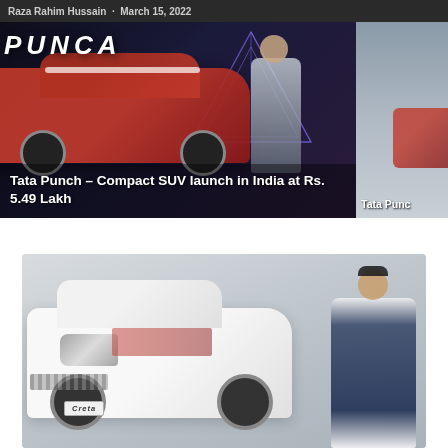Raza Rahim Hussain  ·  March 15, 2022
[Figure (photo): Tata Punch compact SUV launch event photo with red car and presenter on dark stage with geometric lighting, showing partial text 'PUNCA' at top. Caption overlay: 'Tata Punch – Compact SUV launch in India at Rs. 5.49 Lakh']
Tata Punch – Compact SUV launch in India at Rs. 5.49 Lakh
[Figure (photo): Partially visible second carousel image showing 'Tata Punc' text caption, grey background with red car element]
[Figure (photo): Hyundai Creta white SUV with man in suit posing beside it, grey background, Creta badge visible on lower front bumper]